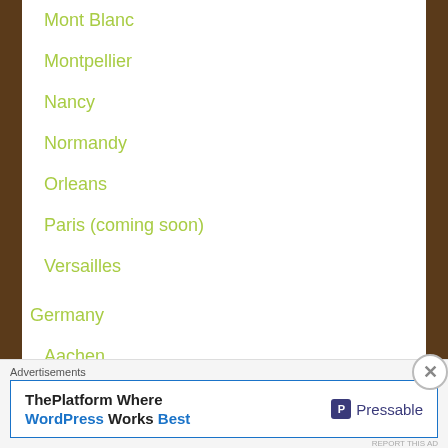Mont Blanc
Montpellier
Nancy
Normandy
Orleans
Paris (coming soon)
Versailles
Germany
Aachen
Berlin (coming soon)
Advertisements
ThePlatform Where WordPress Works Best | Pressable